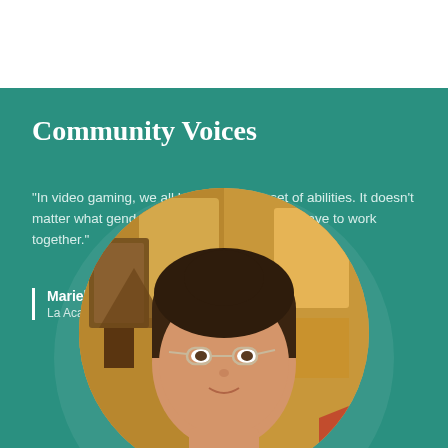Community Voices
"In video gaming, we all have the same set of abilities. It doesn't matter what gender, how old you are...we all have to work together."
Mariel
La Academia Partnership Charter School
[Figure (photo): Circular portrait photo of Mariel, a young woman with glasses and dark hair pulled back, in front of a colorful painted mural background with warm orange/yellow tones.]